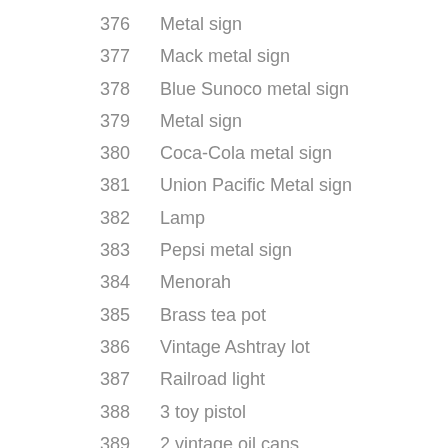376   Metal sign
377   Mack metal sign
378   Blue Sunoco metal sign
379   Metal sign
380   Coca-Cola metal sign
381   Union Pacific Metal sign
382   Lamp
383   Pepsi metal sign
384   Menorah
385   Brass tea pot
386   Vintage Ashtray lot
387   Railroad light
388   3 toy pistol
389   2 vintage oil cans
390   2 vintage milk bottles
391   Vintage photo album